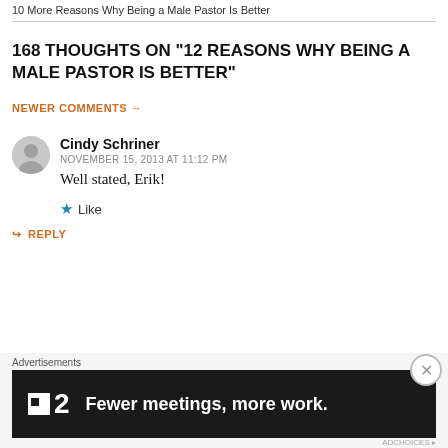10 More Reasons Why Being a Male Pastor Is Better
168 THOUGHTS ON "12 REASONS WHY BEING A MALE PASTOR IS BETTER"
NEWER COMMENTS →
Cindy Schriner
NOVEMBER 15, 2013 AT 11:12 PM
Well stated, Erik!
★ Like
↪ REPLY
Advertisements
Fewer meetings, more work.